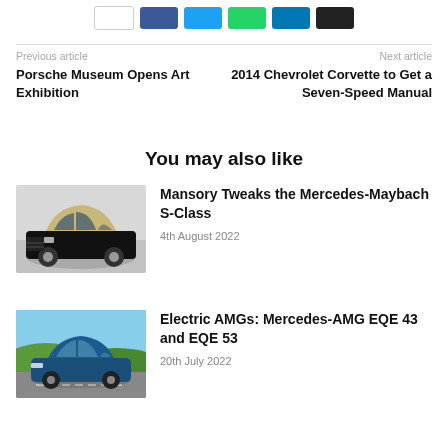Social sharing buttons
Previous article
Porsche Museum Opens Art Exhibition
Next article
2014 Chevrolet Corvette to Get a Seven-Speed Manual
You may also like
[Figure (photo): Mercedes-Maybach S-Class modified by Mansory, black and champagne two-tone color, studio background]
Mansory Tweaks the Mercedes-Maybach S-Class
4th August 2022
[Figure (photo): Blue Mercedes-AMG EQE driving on a road with green hills in the background]
Electric AMGs: Mercedes-AMG EQE 43 and EQE 53
20th July 2022